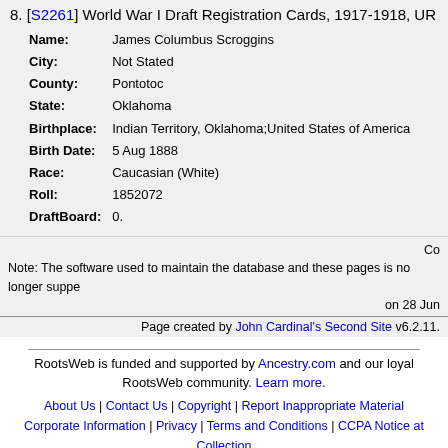8. [S2261] World War I Draft Registration Cards, 1917-1918, UR
Name: James Columbus Scroggins
City: Not Stated
County: Pontotoc
State: Oklahoma
Birthplace: Indian Territory, Oklahoma;United States of America
Birth Date: 5 Aug 1888
Race: Caucasian (White)
Roll: 1852072
DraftBoard: 0.
Co
Note: The software used to maintain the database and these pages is no longer suppe
on 28 Jun
Page created by John Cardinal's Second Site v6.2.11.
RootsWeb is funded and supported by Ancestry.com and our loyal RootsWeb community. Learn more.
About Us | Contact Us | Copyright | Report Inappropriate Material
Corporate Information | Privacy | Terms and Conditions | CCPA Notice at Collection